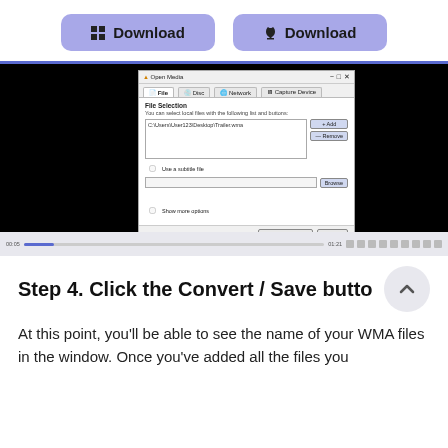[Figure (screenshot): Two download buttons (Windows and Mac) followed by a VLC media player screenshot showing the Open Media dialog with a file path C:\Users\User123\Desktop\Trailer.wma added in the File Selection area.]
Step 4. Click the Convert / Save butto
At this point, you'll be able to see the name of your WMA files in the window. Once you've added all the files you